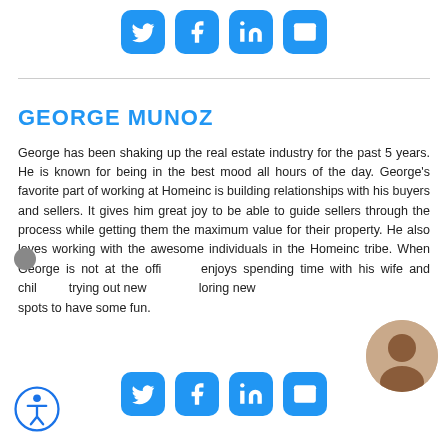[Figure (infographic): Social media share icons: Twitter, Facebook, LinkedIn, Email — blue rounded squares]
GEORGE MUNOZ
George has been shaking up the real estate industry for the past 5 years. He is known for being in the best mood all hours of the day. George's favorite part of working at Homeinc is building relationships with his buyers and sellers. It gives him great joy to be able to guide sellers through the process while getting them the maximum value for their property. He also loves working with the awesome individuals in the Homeinc tribe. When George is not at the office he enjoys spending time with his wife and children, trying out new restaurants and exploring new spots to have some fun.
[Figure (infographic): Social media share icons repeated at bottom: Twitter, Facebook, LinkedIn, Email — blue rounded squares]